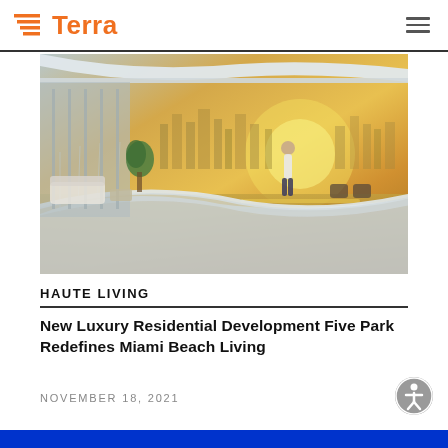Terra
[Figure (photo): Luxury residential high-rise balcony with curved glass railings, tropical plants, outdoor furniture, and a panoramic view of a city skyline across a waterway at golden hour sunset.]
HAUTE LIVING
New Luxury Residential Development Five Park Redefines Miami Beach Living
NOVEMBER 18, 2021